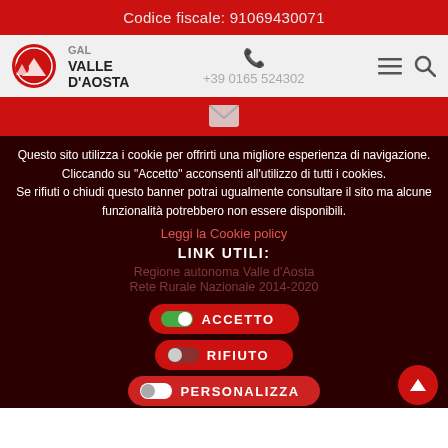Codice fiscale: 91069430071
[Figure (logo): GAL Valle d'Aosta logo with mountain circle icon, phone number +39 0165 524302, hamburger menu and search icons]
[Figure (screenshot): Red band with envelope icon for email contact]
protocollo@pec.galvda.it
Questo sito utilizza i cookie per offrirti una migliore esperienza di navigazione. Cliccando su "Accetto" acconsenti all'utilizzo di tutti i cookies. Se rifiuti o chiudi questo banner potrai ugualmente consultare il sito ma alcune funzionalità potrebbero non essere disponibili.
Leggi la Cookie policy
LINK UTILI:
Regione autonoma Valle d'Aosta
Rete Rurale Nazionale 2014-2020
ACCETTO
RIFIUTO
PERSONALIZZA
Privacy policy  Cookie policy
Web design: DIGIVAL